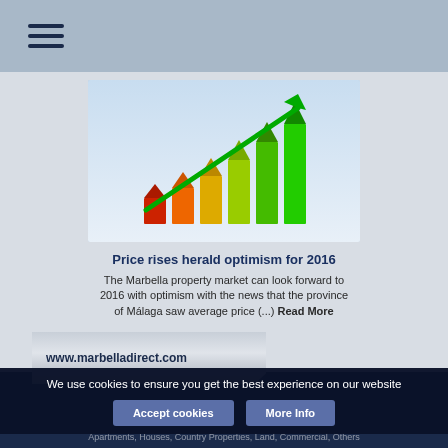Navigation menu (hamburger icon)
[Figure (illustration): Energy efficiency bar chart illustration with house-shaped colored bars increasing in height from red to green, with a green arrow trending upward]
Price rises herald optimism for 2016
The Marbella property market can look forward to 2016 with optimism with the news that the province of Málaga saw average price (...) Read More
www.marbelladirect.com
Frank Walsh: (+34) 678 974 454
Office:
We use cookies to ensure you get the best experience on our website
Apartments, Houses, Country Properties, Land, Commercial, Others
Real estate software by InfoCasa SL